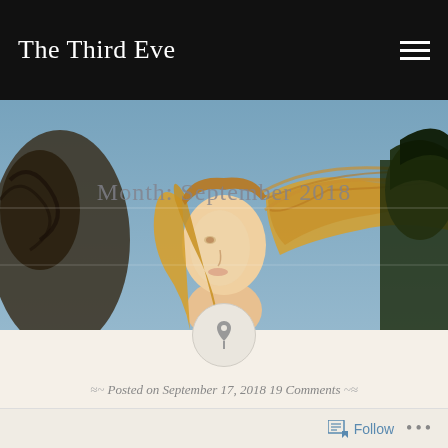The Third Eve
[Figure (illustration): Botticelli-style painting showing a woman with flowing golden hair against a blue-grey background, with draped figures on either side. Text overlay reads 'Month: September 2018'.]
Month: September 2018
Posted on September 17, 2018 19 Comments
Widows Speak Up
Follow ...